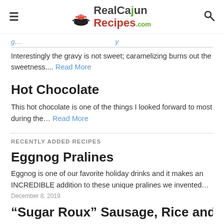RealCajunRecipes.com
Interestingly the gravy is not sweet; caramelizing burns out the sweetness.... Read More
Hot Chocolate
This hot chocolate is one of the things I looked forward to most during the… Read More
RECENTLY ADDED RECIPES
Eggnog Pralines
Eggnog is one of our favorite holiday drinks and it makes an INCREDIBLE addition to these unique pralines we invented…
December 8, 2019
"Sugar Roux" Sausage, Rice and Gravy